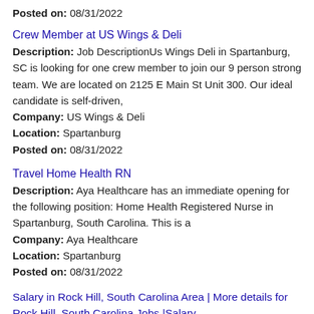Posted on: 08/31/2022
Crew Member at US Wings & Deli
Description: Job DescriptionUs Wings Deli in Spartanburg, SC is looking for one crew member to join our 9 person strong team. We are located on 2125 E Main St Unit 300. Our ideal candidate is self-driven,
Company: US Wings & Deli
Location: Spartanburg
Posted on: 08/31/2022
Travel Home Health RN
Description: Aya Healthcare has an immediate opening for the following position: Home Health Registered Nurse in Spartanburg, South Carolina. This is a
Company: Aya Healthcare
Location: Spartanburg
Posted on: 08/31/2022
Salary in Rock Hill, South Carolina Area | More details for Rock Hill, South Carolina Jobs |Salary
Local CDL A Driver
Description: br br br Local CDL A Driver br Call 855 348-4671 and